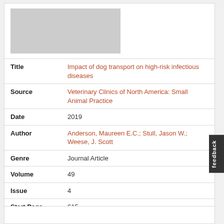[Figure (other): Gray placeholder image thumbnail]
| Field | Value |
| --- | --- |
| Title | Impact of dog transport on high-risk infectious diseases |
| Source | Veterinary Clinics of North America: Small Animal Practice |
| Date | 2019 |
| Author | Anderson, Maureen E.C.; Stull, Jason W.; Weese, J. Scott |
| Genre | Journal Article |
| Volume | 49 |
| Issue | 4 |
| Start Page | 615 |
| DOI | 10.1016/j.cvsm.2019.02.004 |